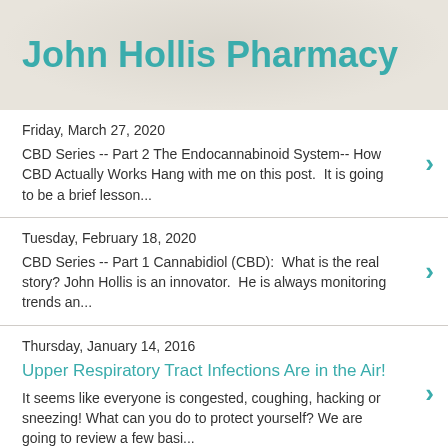John Hollis Pharmacy
Friday, March 27, 2020
CBD Series -- Part 2 The Endocannabinoid System-- How CBD Actually Works Hang with me on this post.  It is going to be a brief lesson...
Tuesday, February 18, 2020
CBD Series -- Part 1 Cannabidiol (CBD):  What is the real story? John Hollis is an innovator.  He is always monitoring trends an...
Thursday, January 14, 2016
Upper Respiratory Tract Infections Are in the Air!
It seems like everyone is congested, coughing, hacking or sneezing! What can you do to protect yourself? We are going to review a few basi...